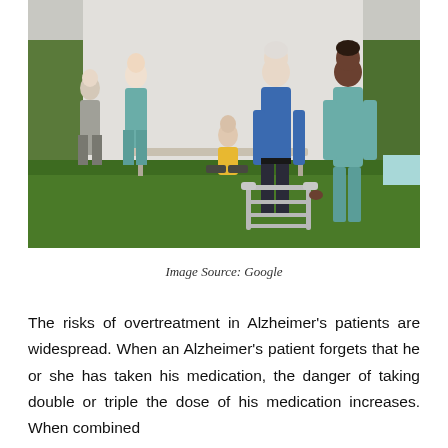[Figure (photo): An elderly man using a walker is assisted by a healthcare worker in blue scrubs on a green lawn. In the background, two nurses in teal scrubs talk with an older woman, and a person in a yellow shirt sits on the ground. Green foliage is visible in the background.]
Image Source: Google
The risks of overtreatment in Alzheimer's patients are widespread. When an Alzheimer's patient forgets that he or she has taken his medication, the danger of taking double or triple the dose of his medication increases. When combined